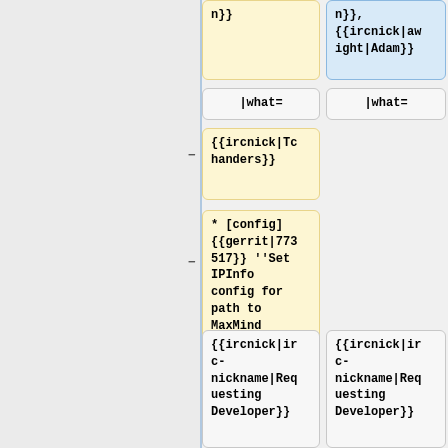n}}
n}},
{{ircnick|awright|Adam}}
|what=
|what=
{{ircnick|Tchanders}}
* [config] {{gerrit|773517}} ''Set IPInfo config for path to MaxMind files''
{{ircnick|irc-nickname|Requesting Developer}}
{{ircnick|irc-nickname|Requesting Developer}}